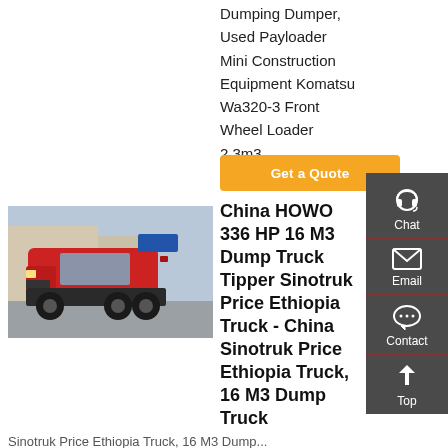Dumping Dumper, Used Payloader Mini Construction Equipment Komatsu Wa320-3 Front Wheel Loader 2.3m3
Get a Quote
[Figure (photo): Red HOWO dump truck/tractor unit parked in front of a building]
China HOWO 336 HP 16 M3 Dump Truck Tipper Sinotruk Price Ethiopia Truck - China Sinotruk Price Ethiopia Truck, 16 M3 Dump Truck
Sinotruk Price Ethiopia Truck, 16 M3 Dump...